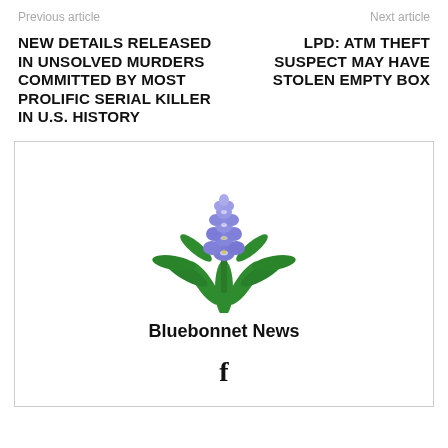Previous article    Next article
NEW DETAILS RELEASED IN UNSOLVED MURDERS COMMITTED BY MOST PROLIFIC SERIAL KILLER IN U.S. HISTORY
LPD: ATM THEFT SUSPECT MAY HAVE STOLEN EMPTY BOX
[Figure (logo): Bluebonnet News logo: a bluebonnet flower illustration with green leaves and purple-blue florets]
Bluebonnet News
f